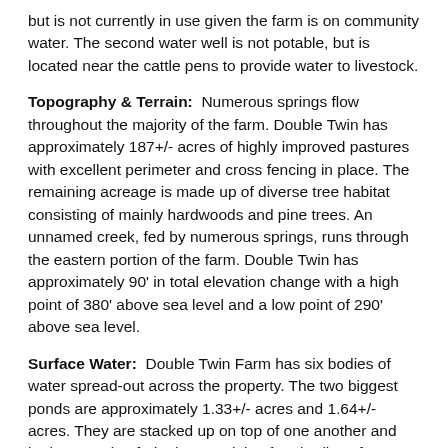but is not currently in use given the farm is on community water. The second water well is not potable, but is located near the cattle pens to provide water to livestock.
Topography & Terrain: Numerous springs flow throughout the majority of the farm. Double Twin has approximately 187+/- acres of highly improved pastures with excellent perimeter and cross fencing in place. The remaining acreage is made up of diverse tree habitat consisting of mainly hardwoods and pine trees. An unnamed creek, fed by numerous springs, runs through the eastern portion of the farm. Double Twin has approximately 90' in total elevation change with a high point of 380' above sea level and a low point of 290' above sea level.
Surface Water: Double Twin Farm has six bodies of water spread-out across the property. The two biggest ponds are approximately 1.33+/- acres and 1.64+/- acres. They are stacked up on top of one another and both are spring fed. The remaining four bodies of water are scattered throughout the farm providing water for livestock and wildlife. A small, wooded marsh is located